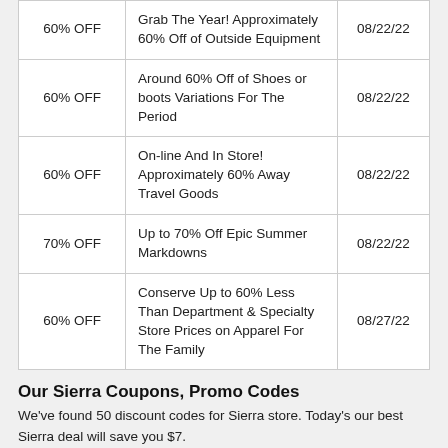| Discount | Description | Date |
| --- | --- | --- |
| 60% OFF | Grab The Year! Approximately 60% Off of Outside Equipment | 08/22/22 |
| 60% OFF | Around 60% Off of Shoes or boots Variations For The Period | 08/22/22 |
| 60% OFF | On-line And In Store! Approximately 60% Away Travel Goods | 08/22/22 |
| 70% OFF | Up to 70% Off Epic Summer Markdowns | 08/22/22 |
| 60% OFF | Conserve Up to 60% Less Than Department & Specialty Store Prices on Apparel For The Family | 08/27/22 |
Our Sierra Coupons, Promo Codes
We've found 50 discount codes for Sierra store. Today's our best Sierra deal will save you $7.